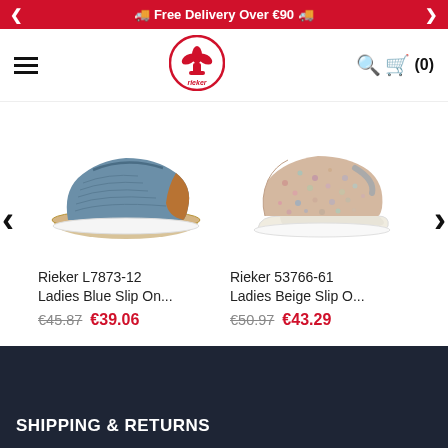Free Delivery Over €90
[Figure (logo): Rieker brand logo — red fleur-de-lis in a red circle with 'rieker' text]
[Figure (photo): Rieker L7873-12 Ladies Blue Slip On shoe — blue woven espadrille-style slip-on with tan trim and rope sole]
Rieker L7873-12 Ladies Blue Slip On...
€45.87  €39.06
[Figure (photo): Rieker 53766-61 Ladies Beige Slip On shoe — beige glitter/floral print slip-on with wedge white sole]
Rieker 53766-61 Ladies Beige Slip O...
€50.97  €43.29
SHIPPING & RETURNS